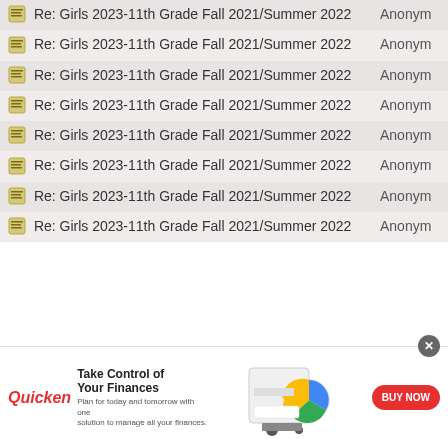| Thread Title | Author |
| --- | --- |
| Re: Girls 2023-11th Grade Fall 2021/Summer 2022 | Anonym |
| Re: Girls 2023-11th Grade Fall 2021/Summer 2022 | Anonym |
| Re: Girls 2023-11th Grade Fall 2021/Summer 2022 | Anonym |
| Re: Girls 2023-11th Grade Fall 2021/Summer 2022 | Anonym |
| Re: Girls 2023-11th Grade Fall 2021/Summer 2022 | Anonym |
| Re: Girls 2023-11th Grade Fall 2021/Summer 2022 | Anonym |
| Re: Girls 2023-11th Grade Fall 2021/Summer 2022 | Anonym |
| Re: Girls 2023-11th Grade Fall 2021/Summer 2022 | Anonym |
[Figure (infographic): Quicken advertisement banner: Take Control of Your Finances. Plan for today and tomorrow with one solution to manage all your finances. BUY NOW button.]